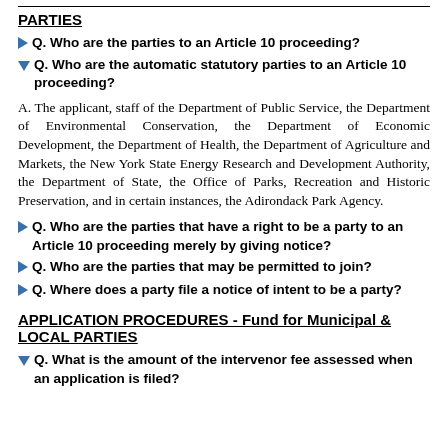PARTIES
Q. Who are the parties to an Article 10 proceeding?
Q. Who are the automatic statutory parties to an Article 10 proceeding?
A. The applicant, staff of the Department of Public Service, the Department of Environmental Conservation, the Department of Economic Development, the Department of Health, the Department of Agriculture and Markets, the New York State Energy Research and Development Authority, the Department of State, the Office of Parks, Recreation and Historic Preservation, and in certain instances, the Adirondack Park Agency.
Q. Who are the parties that have a right to be a party to an Article 10 proceeding merely by giving notice?
Q. Who are the parties that may be permitted to join?
Q. Where does a party file a notice of intent to be a party?
APPLICATION PROCEDURES - Fund for Municipal & LOCAL PARTIES
Q. What is the amount of the intervenor fee assessed when an application is filed?